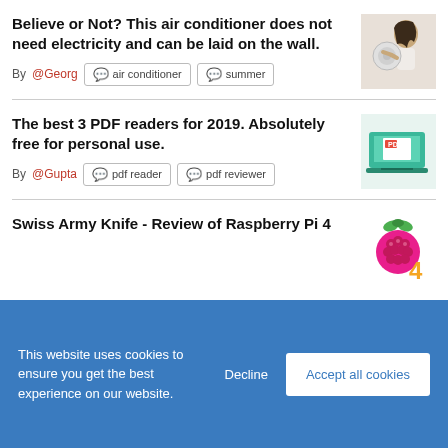Believe or Not? This air conditioner does not need electricity and can be laid on the wall.
By @Georg  air conditioner  summer
[Figure (photo): Woman holding a circular air conditioner against her back]
The best 3 PDF readers for 2019. Absolutely free for personal use.
By @Gupta  pdf reader  pdf reviewer
[Figure (illustration): Illustration of a laptop displaying a PDF document]
Swiss Army Knife - Review of Raspberry Pi 4
[Figure (logo): Raspberry Pi 4 logo]
This website uses cookies to ensure you get the best experience on our website.